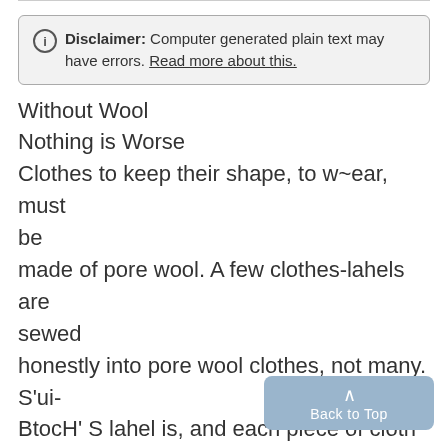Disclaimer: Computer generated plain text may have errors. Read more about this.
Without Wool
Nothing is Worse
Clothes to keep their shape, to w~ear, must be
made of pore wool. A few clothes-lahels are sewed
honestly into pore wool clothes, not many. S'ui-
BtocH' S lahel is, and each piece of cloth is